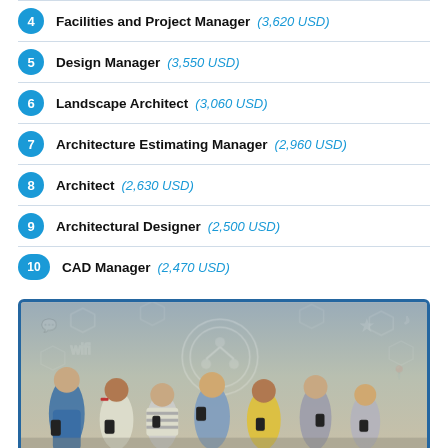4 Facilities and Project Manager (3,620 USD)
5 Design Manager (3,550 USD)
6 Landscape Architect (3,060 USD)
7 Architecture Estimating Manager (2,960 USD)
8 Architect (2,630 USD)
9 Architectural Designer (2,500 USD)
10 CAD Manager (2,470 USD)
[Figure (photo): Group of young people looking at smartphones against a grey wall with digital network hexagon overlay graphics]